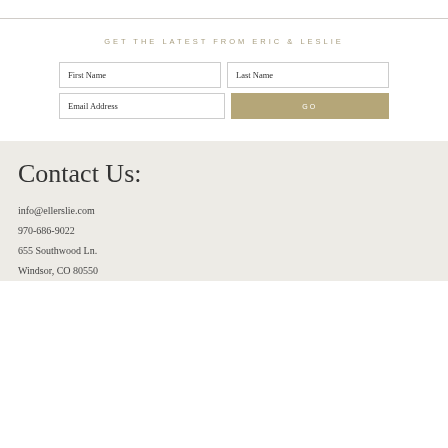GET THE LATEST FROM ERIC & LESLIE
First Name | Last Name | Email Address | GO
Contact Us:
info@ellerslie.com
970-686-9022
655 Southwood Ln.
Windsor, CO 80550